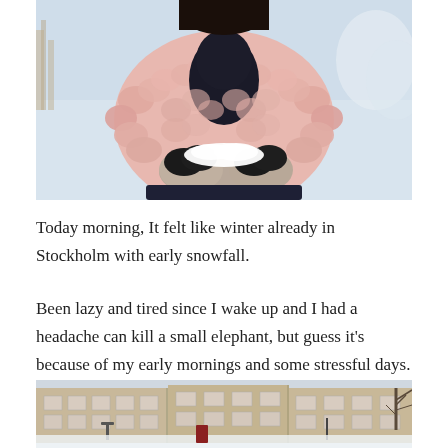[Figure (photo): Person wearing a fluffy pink knit cardigan holding snow in dark mittens, outdoors in winter/snowy setting, upper body shot with blurred snowy background]
Today morning, It felt like winter already in Stockholm with early snowfall.
Been lazy and tired since I wake up and I had a headache can kill a small elephant, but guess it's because of my early mornings and some stressful days.
[Figure (photo): Winter street scene showing brick apartment buildings with snow, bare trees visible on the right side]